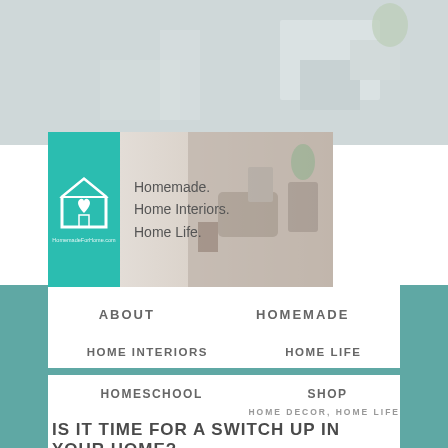[Figure (photo): Background blurred interior room photo with soft grey tones]
[Figure (logo): Homemade For Home website banner logo with teal background, house/heart icon, and tagline: Homemade. Home Interiors. Home Life.]
ABOUT
HOMEMADE
HOME INTERIORS
HOME LIFE
HOMESCHOOL
SHOP
HOME DECOR, HOME LIFE
IS IT TIME FOR A SWITCH UP IN YOUR HOME?